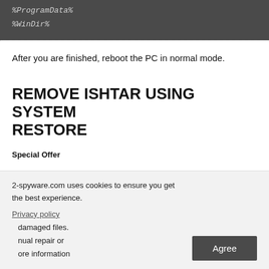%ProgramData%
%WinDir%
After you are finished, reboot the PC in normal mode.
REMOVE ISHTAR USING SYSTEM RESTORE
Special Offer
2-spyware.com uses cookies to ensure you get the best experience.
damaged files. nual repair or ore information
Privacy policy
Agree